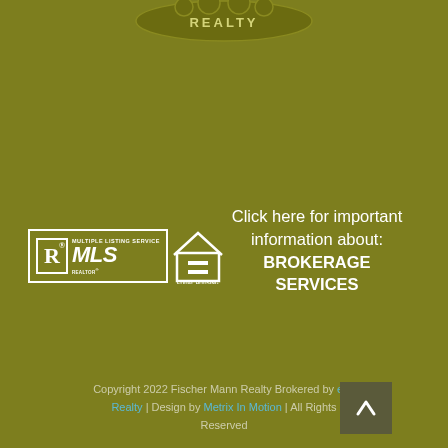[Figure (logo): Fischer Mann Realty logo at top center, decorative cloud/shield shape with 'REALTY' text, dark olive/gold color]
[Figure (logo): REALTOR MLS logo - white box with R symbol and MLS text]
[Figure (logo): Equal Housing Opportunity logo - white house with equals sign]
Click here for important information about: BROKERAGE SERVICES
Copyright 2022 Fischer Mann Realty Brokered by exp Realty | Design by Metrix In Motion | All Rights Reserved